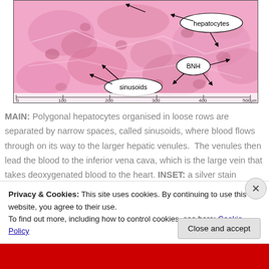[Figure (photo): Histology micrograph of liver tissue showing hepatocytes arranged in loose rows separated by sinusoids (narrow spaces). Labels point to 'hepatocytes', 'sinusoids', and 'BNH'. A scale bar at bottom shows 0–500 µm. Pink H&E staining.]
MAIN: Polygonal hepatocytes organised in loose rows are separated by narrow spaces, called sinusoids, where blood flows through on its way to the larger hepatic venules. The venules then lead the blood to the inferior vena cava, which is the large vein that takes deoxygenated blood to the heart. INSET: a silver stain (called a reticulin stain) highlights only the outline of the hepatocytes, showing individual cells more clearly.
Privacy & Cookies: This site uses cookies. By continuing to use this website, you agree to their use.
To find out more, including how to control cookies, see here: Cookie Policy